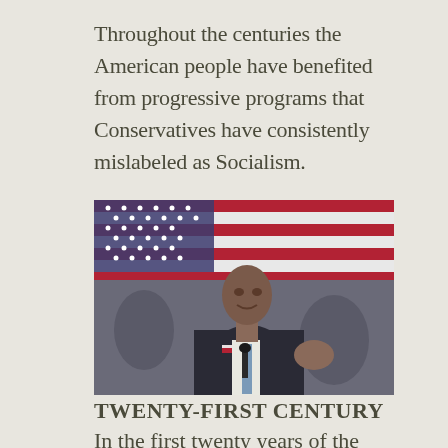Throughout the centuries the American people have benefited from progressive programs that Conservatives have consistently mislabeled as Socialism.
[Figure (photo): A man in a dark suit speaking at a podium in front of an American flag, appearing to be delivering a speech.]
TWENTY-FIRST CENTURY
In the first twenty years of the Twenty-First Century, Republicans have failed to carry out the agenda